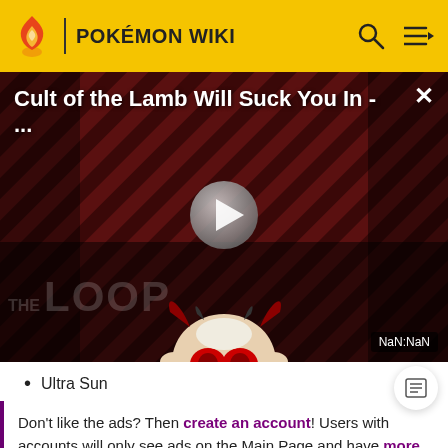POKÉMON WIKI
[Figure (screenshot): Video thumbnail for 'Cult of the Lamb Will Suck You In - ...' with a stylized creature character over a diagonal striped dark red background, a play button in the center, 'THE LOOP' watermark text, and a 'NaN:NaN' timer badge in the bottom right. A close (×) button is in the top right.]
Ultra Sun
Don't like the ads? Then create an account! Users with accounts will only see ads on the Main Page and have more options than anonymous users.